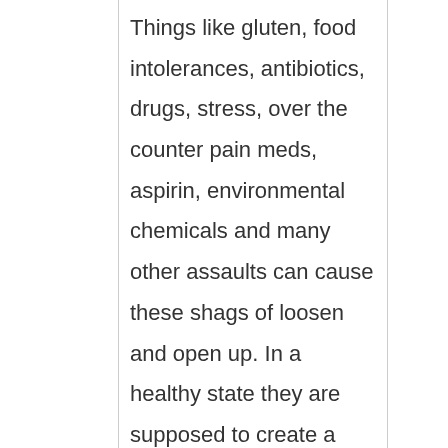Things like gluten, food intolerances, antibiotics, drugs, stress, over the counter pain meds, aspirin, environmental chemicals and many other assaults can cause these shags of loosen and open up. In a healthy state they are supposed to create a “brush barrier” between you and all the bad things hitting your gut everyday. (20 million toxic particles +/- a few). This barrier is